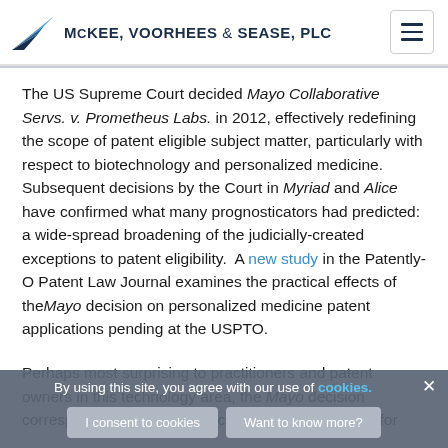McKEE, VOORHEES & SEASE, PLC
The US Supreme Court decided Mayo Collaborative Servs. v. Prometheus Labs. in 2012, effectively redefining the scope of patent eligible subject matter, particularly with respect to biotechnology and personalized medicine. Subsequent decisions by the Court in Myriad and Alice have confirmed what many prognosticators had predicted: a wide-spread broadening of the judicially-created exceptions to patent eligibility. A new study in the Patently-O Patent Law Journal examines the practical effects of the Mayo decision on personalized medicine patent applications pending at the USPTO.
Perhaps most surprising to practitioners and patent owners in this technology area, the Mayo decision corresponded with a dramatic increase in rejections for